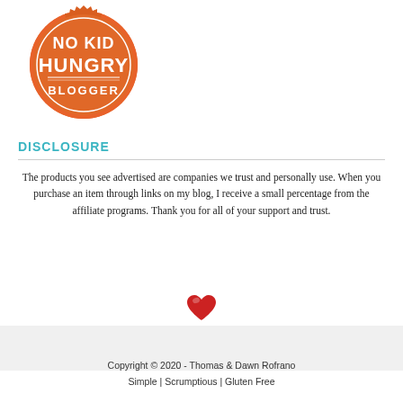[Figure (logo): No Kid Hungry Blogger badge — orange circular seal with white text reading NO KID HUNGRY BLOGGER]
DISCLOSURE
The products you see advertised are companies we trust and personally use. When you purchase an item through links on my blog, I receive a small percentage from the affiliate programs. Thank you for all of your support and trust.
[Figure (illustration): Red heart emoji / icon]
Copyright © 2020 - Thomas & Dawn Rofrano
Simple | Scrumptious | Gluten Free